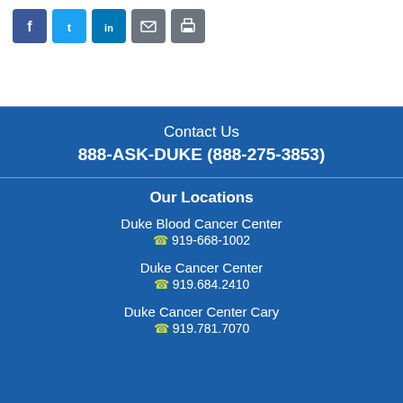[Figure (other): Social media sharing icons: Facebook, Twitter, LinkedIn, Email, Print]
Contact Us
888-ASK-DUKE (888-275-3853)
Our Locations
Duke Blood Cancer Center
919-668-1002
Duke Cancer Center
919.684.2410
Duke Cancer Center Cary
919.781.7070